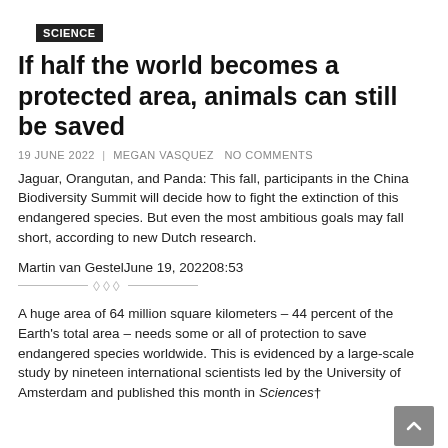SCIENCE
If half the world becomes a protected area, animals can still be saved
19 JUNE 2022 | MEGAN VASQUEZ  NO COMMENTS
Jaguar, Orangutan, and Panda: This fall, participants in the China Biodiversity Summit will decide how to fight the extinction of this endangered species. But even the most ambitious goals may fall short, according to new Dutch research.
Martin van GestelJune 19, 202208:53
A huge area of 64 million square kilometers – 44 percent of the Earth's total area – needs some or all of protection to save endangered species worldwide. This is evidenced by a large-scale study by nineteen international scientists led by the University of Amsterdam and published this month in Sciences†